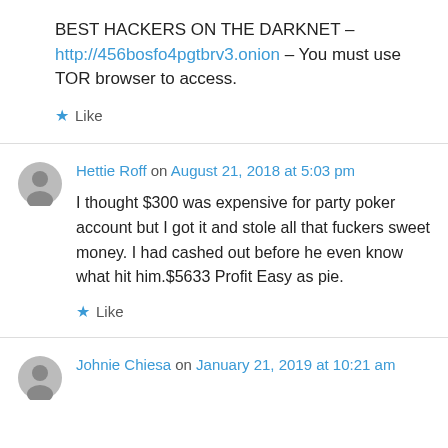BEST HACKERS ON THE DARKNET – http://456bosfo4pgtbrv3.onion – You must use TOR browser to access.
★ Like
Hettie Roff on August 21, 2018 at 5:03 pm
I thought $300 was expensive for party poker account but I got it and stole all that fuckers sweet money. I had cashed out before he even know what hit him.$5633 Profit Easy as pie.
★ Like
Johnie Chiesa on January 21, 2019 at 10:21 am